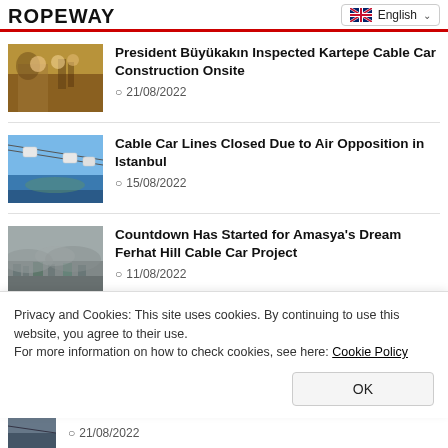ROPEWAY
[Figure (screenshot): English language selector dropdown with UK flag]
[Figure (photo): Photo thumbnail of construction site with people]
President Büyükakın Inspected Kartepe Cable Car Construction Onsite
21/08/2022
[Figure (photo): Photo thumbnail of cable car gondolas against sky]
Cable Car Lines Closed Due to Air Opposition in Istanbul
15/08/2022
[Figure (photo): Photo thumbnail of aerial city view of Amasya]
Countdown Has Started for Amasya's Dream Ferhat Hill Cable Car Project
11/08/2022
Privacy and Cookies: This site uses cookies. By continuing to use this website, you agree to their use.
For more information on how to check cookies, see here: Cookie Policy
[Figure (photo): Partial photo thumbnail at bottom]
21/08/2022